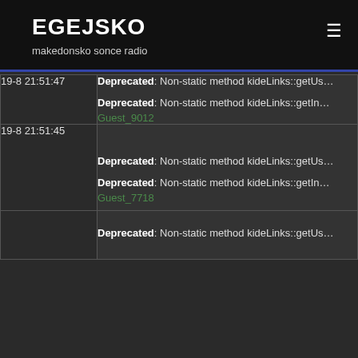EGEJSKO
makedonsko sonce radio
| Time | Message |
| --- | --- |
| 19-8 21:51:47 | Deprecated: Non-static method kideLinks::getUs...
Deprecated: Non-static method kideLinks::getIn...
Guest_9012 |
| 19-8 21:51:45 | Deprecated: Non-static method kideLinks::getUs...
Deprecated: Non-static method kideLinks::getIn...
Guest_7718 |
|  | Deprecated: Non-static method kideLinks::getUs... |